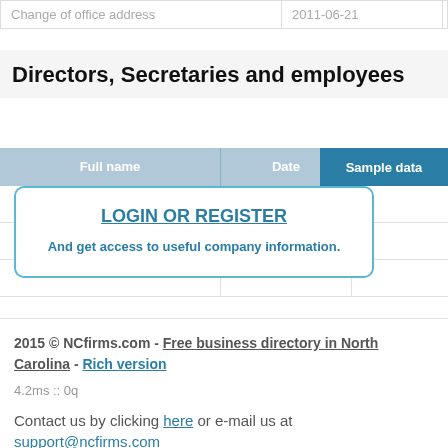|  |  |  |
| --- | --- | --- |
| Change of office address | 2011-06-21 |  |
Directors, Secretaries and employees
| Full name | Date | Co | Sample data |
| --- | --- | --- | --- |
LOGIN OR REGISTER
And get access to useful company information.
2015 © NCfirms.com - Free business directory in North Carolina - Rich version
4.2ms :: 0q
Contact us by clicking here or e-mail us at support@ncfirms.com